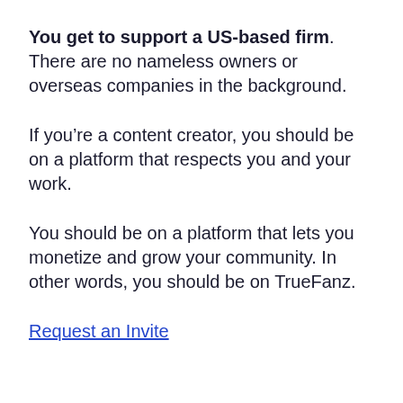You get to support a US-based firm. There are no nameless owners or overseas companies in the background.
If you’re a content creator, you should be on a platform that respects you and your work.
You should be on a platform that lets you monetize and grow your community. In other words, you should be on TrueFanz.
Request an Invite